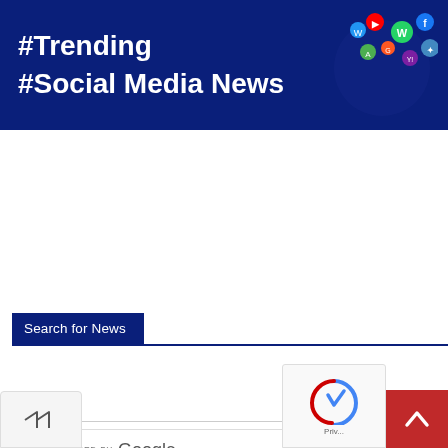[Figure (illustration): Dark blue banner with white bold text '#Trending #Social Media News' and a globe made of social media app icons on the right]
Search for News
[Figure (screenshot): Google enhanced search bar with 'ENHANCED BY Google' label and a blue search icon button on the right]
[Figure (other): Share icon (forward arrow) in bottom-left corner]
[Figure (other): reCAPTCHA logo and Priv text in bottom-right corner]
[Figure (other): Red scroll-to-top button with up arrow in bottom-right]